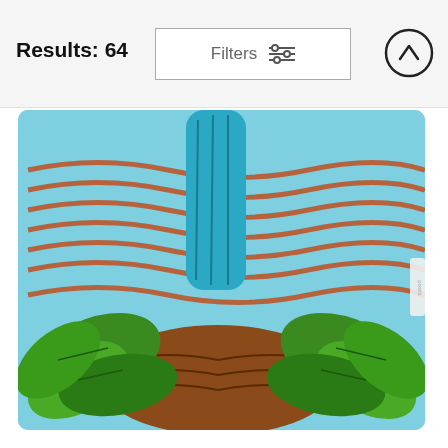Results: 64   Filters
Results: 64
[Figure (screenshot): Pencil case / pouch product showing a painted artwork of an angel figure in a blue robe with orange wave lines and green leaves on a brown base, against a light blue sky background. A small white label tab is visible on the right edge.]
Angel In The Sky
Tina Marie Gill
$22
[Figure (photo): Partially visible second product — a pencil case / pouch with a gold zipper at the top and artwork depicting silhouettes of pine/fir trees in a misty, sepia-toned landscape.]